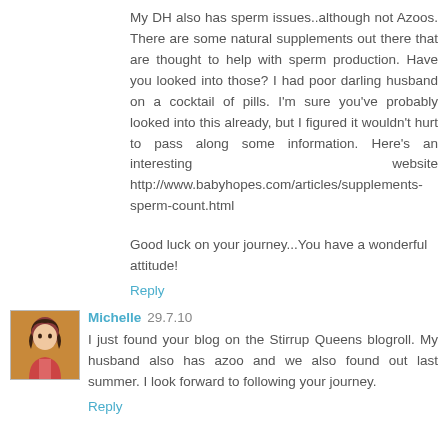My DH also has sperm issues..although not Azoos. There are some natural supplements out there that are thought to help with sperm production. Have you looked into those? I had poor darling husband on a cocktail of pills. I'm sure you've probably looked into this already, but I figured it wouldn't hurt to pass along some information. Here's an interesting website http://www.babyhopes.com/articles/supplements-sperm-count.html
Good luck on your journey...You have a wonderful attitude!
Reply
Michelle 29.7.10
I just found your blog on the Stirrup Queens blogroll. My husband also has azoo and we also found out last summer. I look forward to following your journey.
Reply